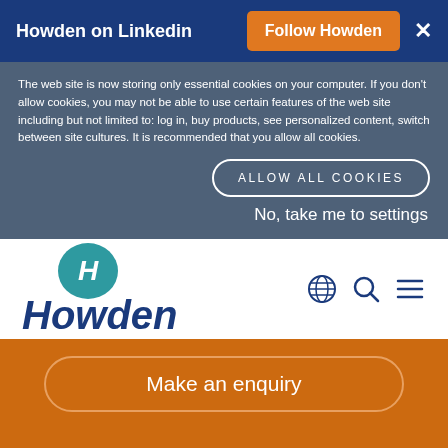Howden on Linkedin | Follow Howden ×
The web site is now storing only essential cookies on your computer. If you don't allow cookies, you may not be able to use certain features of the web site including but not limited to: log in, buy products, see personalized content, switch between site cultures. It is recommended that you allow all cookies.
ALLOW ALL COOKIES
No, take me to settings
[Figure (logo): Howden company logo with teal circular emblem containing stylized H and italic blue 'Howden' text]
[Figure (infographic): Navigation icons: globe, search magnifier, and hamburger menu in navy blue]
Make an enquiry
Contact Us